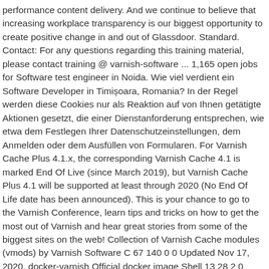performance content delivery. And we continue to believe that increasing workplace transparency is our biggest opportunity to create positive change in and out of Glassdoor. Standard. Contact: For any questions regarding this training material, please contact training @ varnish-software ... 1,165 open jobs for Software test engineer in Noida. Wie viel verdient ein Software Developer in Timișoara, Romania? In der Regel werden diese Cookies nur als Reaktion auf von Ihnen getätigte Aktionen gesetzt, die einer Dienstanforderung entsprechen, wie etwa dem Festlegen Ihrer Datenschutzeinstellungen, dem Anmelden oder dem Ausfüllen von Formularen. For Varnish Cache Plus 4.1.x, the corresponding Varnish Cache 4.1 is marked End Of Live (since March 2019), but Varnish Cache Plus 4.1 will be supported at least through 2020 (No End Of Life date has been announced). This is your chance to go to the Varnish Conference, learn tips and tricks on how to get the most out of Varnish and hear great stories from some of the biggest sites on the web! Collection of Varnish Cache modules (vmods) by Varnish Software C 67 140 0 0 Updated Nov 17, 2020. docker-varnish Official docker image Shell 13 28 2 0 Updated Nov 10, 2020. toolbox Python 0 2 0 1 Updated Nov 9, 2020. hitch A scalable TLS proxy by Varnish Software. Right now Varnish Software is focusing on developing Varnish